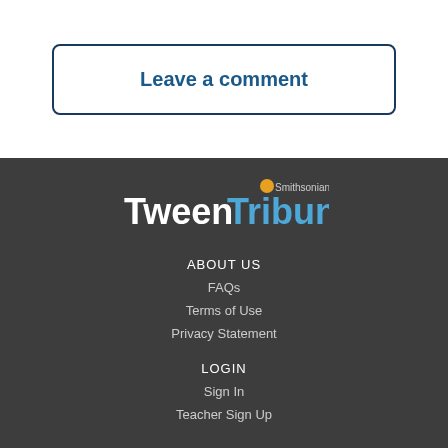Leave a comment
[Figure (logo): Tween Tribune Smithsonian logo — white and blue text on dark background]
ABOUT US
FAQs
Terms of Use
Privacy Statement
LOGIN
Sign In
Teacher Sign Up